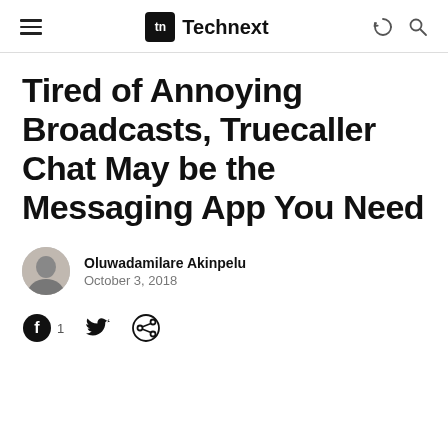Technext
Tired of Annoying Broadcasts, Truecaller Chat May be the Messaging App You Need
Oluwadamilare Akinpelu
October 3, 2018
1 (Facebook share count), Twitter share, Pinterest share